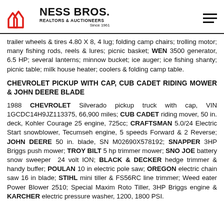NESS BROS. REALTORS & AUCTIONEERS Since 1961
trailer wheels & tires 4.80 X 8, 4 lug; folding camp chairs; trolling motor; many fishing rods, reels & lures; picnic basket; WEN 3500 generator, 6.5 HP; several lanterns; minnow bucket; ice auger; ice fishing shanty; picnic table; milk house heater; coolers & folding camp table.
CHEVROLET PICKUP WITH CAP, CUB CADET RIDING MOWER & JOHN DEERE BLADE
1988 CHEVROLET Silverado pickup truck with cap, VIN 1GCDC14H9JZ113375, 66,900 miles; CUB CADET riding mover, 50 in. deck, Kohler Courage 25 engine, 725cc; CRAFTSMAN 5.0/24 Electric Start snowblower, Tecumseh engine, 5 speeds Forward & 2 Reverse; JOHN DEERE 50 in. blade, SN M02690X578192; SNAPPER 3HP Briggs push mower; TROY BILT 5 hp trimmer mower; SNO JOE battery snow sweeper 24 volt ION; BLACK & DECKER hedge trimmer & handy buffer; POULAN 10 in electric pole saw; OREGON electric chain saw 16 in blade; STIHL mini tiller & FS56RC line trimmer; Weed eater Power Blower 2510; Special Maxim Roto Tiller, 3HP Briggs engine & KARCHER electric pressure washer, 1200, 1800 PSI.